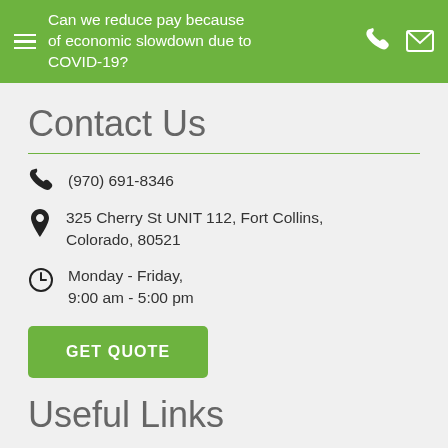Can we reduce pay because of economic slowdown due to COVID-19?
Contact Us
(970) 691-8346
325 Cherry St UNIT 112, Fort Collins, Colorado, 80521
Monday - Friday, 9:00 am - 5:00 pm
GET QUOTE
Useful Links